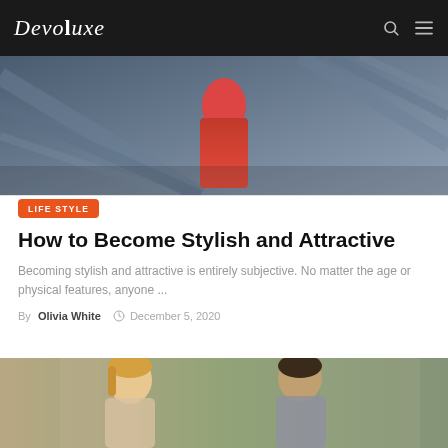Devoluxe
[Figure (photo): Fashion photo showing a woman in a red dress on an escalator with blue/grey background]
LIFE STYLE
How to Become Stylish and Attractive
Becoming stylish and attractive is entirely subjective. No matter the age or physical features, anyone ...
By Olivia White  December 5, 2020
[Figure (photo): Photo of a smiling woman with blonde hair and a man laughing together outdoors]